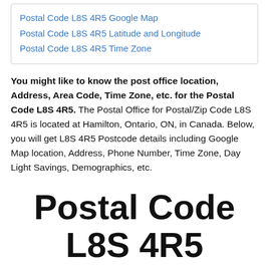Postal Code L8S 4R5 Google Map
Postal Code L8S 4R5 Latitude and Longitude
Postal Code L8S 4R5 Time Zone
You might like to know the post office location, Address, Area Code, Time Zone, etc. for the Postal Code L8S 4R5. The Postal Office for Postal/Zip Code L8S 4R5 is located at Hamilton, Ontario, ON, in Canada. Below, you will get L8S 4R5 Postcode details including Google Map location, Address, Phone Number, Time Zone, Day Light Savings, Demographics, etc.
Postal Code L8S 4R5